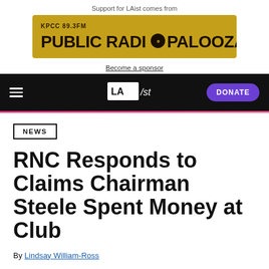Support for LAist comes from
[Figure (illustration): KPCC 89.3FM Public Radio Palooza gold banner advertisement]
Become a sponsor
LAist — DONATE navigation bar
NEWS
RNC Responds to Claims Chairman Steele Spent Money at Club
By Lindsay William-Ross